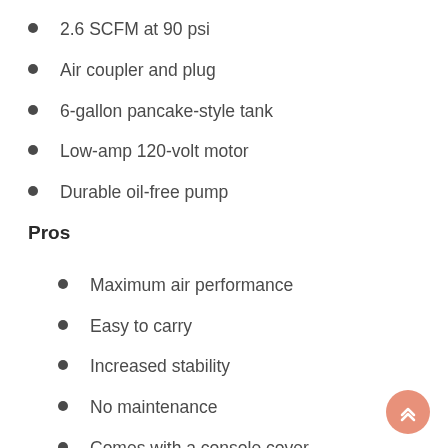2.6 SCFM at 90 psi
Air coupler and plug
6-gallon pancake-style tank
Low-amp 120-volt motor
Durable oil-free pump
Pros
Maximum air performance
Easy to carry
Increased stability
No maintenance
Comes with a console cover